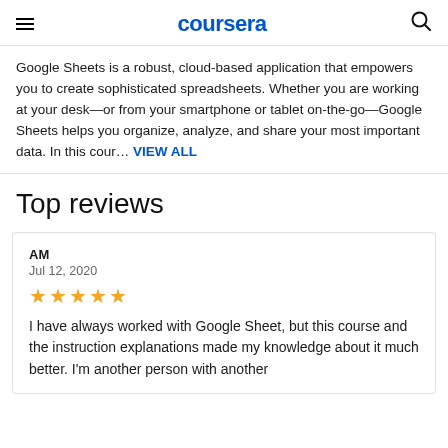coursera
Google Sheets is a robust, cloud-based application that empowers you to create sophisticated spreadsheets. Whether you are working at your desk—or from your smartphone or tablet on-the-go—Google Sheets helps you organize, analyze, and share your most important data. In this cour… VIEW ALL
Top reviews
AM
Jul 12, 2020
★★★★★
I have always worked with Google Sheet, but this course and the instruction explanations made my knowledge about it much better. I'm another person with another